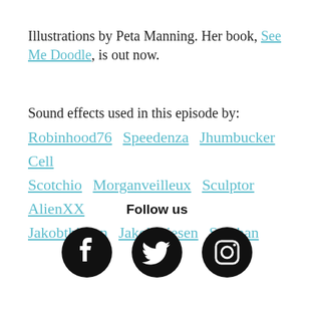Illustrations by Peta Manning. Her book, See Me Doodle, is out now.
Sound effects used in this episode by: Robinhood76 Speedenza Jhumbucker Cell Scotchio Morganveilleux Sculptor AlienXX Jakobthiesen Jakobthiesen Stephan
Follow us
[Figure (infographic): Three social media icons: Facebook, Twitter, Instagram — black circles with white icons]